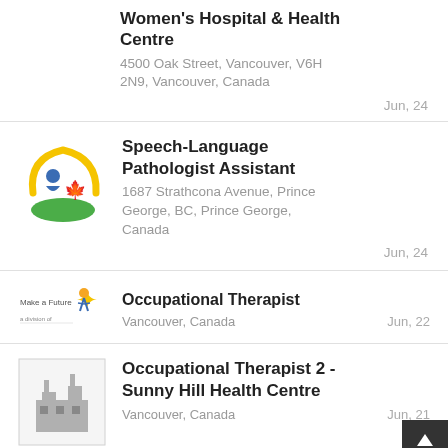Women's Hospital & Health Centre
4500 Oak Street, Vancouver, V6H 2N9, Vancouver, Canada
Jun, 24
[Figure (logo): Speech-Language Pathologist logo with person and maple leaf on green hand, yellow arc]
Speech-Language Pathologist Assistant
1687 Strathcona Avenue, Prince George, BC, Prince George, Canada
Jun, 24
[Figure (logo): Make a Future logo with colorful figure]
Occupational Therapist
Vancouver, Canada
Jun, 22
[Figure (logo): Generic company placeholder logo - grey factory building icon]
Occupational Therapist 2 - Sunny Hill Health Centre
Vancouver, Canada
Jun, 21